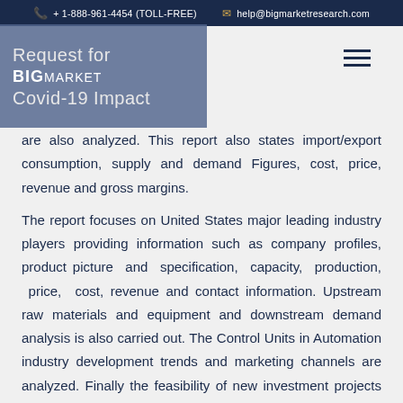+ 1-888-961-4454 (TOLL-FREE)   help@bigmarketresearch.com
Request for
BIG MARKET
Covid-19 Impact
are also analyzed. This report also states import/export consumption, supply and demand Figures, cost, price, revenue and gross margins.
The report focuses on United States major leading industry players providing information such as company profiles, product picture and specification, capacity, production, price, cost, revenue and contact information. Upstream raw materials and equipment and downstream demand analysis is also carried out. The Control Units in Automation industry development trends and marketing channels are analyzed. Finally the feasibility of new investment projects are assessed and overall research conclusions offered.